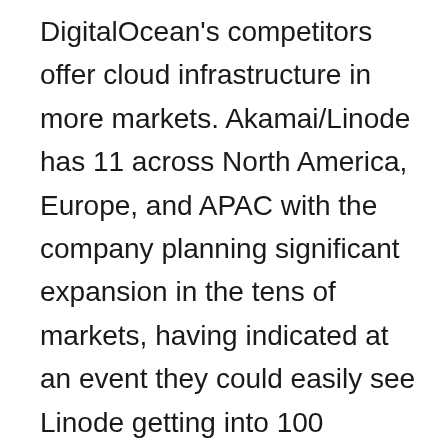DigitalOcean's competitors offer cloud infrastructure in more markets. Akamai/Linode has 11 across North America, Europe, and APAC with the company planning significant expansion in the tens of markets, having indicated at an event they could easily see Linode getting into 100 markets. Vultr is available in 25 markets across North America, South America, Europe, APAC and Australia, while OVH has a presence composed of 32 data centers across 12 markets spanning North America, Europe, APAC and Australia, while Hivelocity is available in 26 markets across North America, Europe, APAC, and Australia. Upcloud is in 12 markets across North America, Europe, and APAC, StackPath is in 35 markets with 60 edge locations, and Cox Edge is currently available in 19